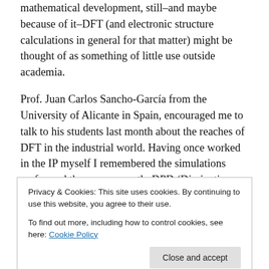mathematical development, still–and maybe because of it–DFT (and electronic structure calculations in general for that matter) might be thought of as something of little use outside academia.
Prof. Juan Carlos Sancho-García from the University of Alicante in Spain, encouraged me to talk to his students last month about the reaches of DFT in the industrial world. Having once worked in the IP myself I remembered the simulations performed there were mostly DPD (Dissipative Particle Dynamics), a coarse grained kind of molecular dynamics, for investigating the interactions
Privacy & Cookies: This site uses cookies. By continuing to use this website, you agree to their use.
To find out more, including how to control cookies, see here: Cookie Policy
wasn't sure where DFT could fit in all this. I thought patent